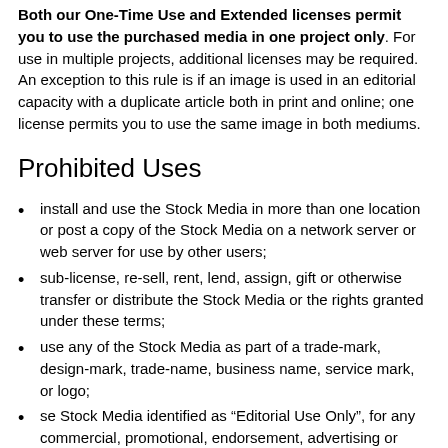Both our One-Time Use and Extended licenses permit you to use the purchased media in one project only. For use in multiple projects, additional licenses may be required. An exception to this rule is if an image is used in an editorial capacity with a duplicate article both in print and online; one license permits you to use the same image in both mediums.
Prohibited Uses
install and use the Stock Media in more than one location or post a copy of the Stock Media on a network server or web server for use by other users;
sub-license, re-sell, rent, lend, assign, gift or otherwise transfer or distribute the Stock Media or the rights granted under these terms;
use any of the Stock Media as part of a trade-mark, design-mark, trade-name, business name, service mark, or logo;
se Stock Media identified as “Editorial Use Only”, for any commercial, promotional, endorsement, advertising or merchandising use. For clarification, in this Agreement